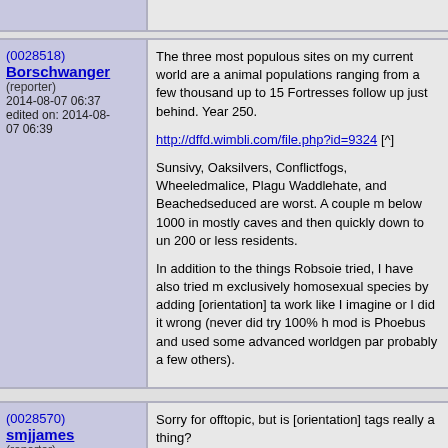(0028518) Borschwanger (reporter) 2014-08-07 06:37 edited on: 2014-08-07 06:39
The three most populous sites on my current world are a animal populations ranging from a few thousand up to 15 Fortresses follow up just behind. Year 250.

http://dffd.wimbli.com/file.php?id=9324 [^]

Sunsivy, Oaksilvers, Conflictfogs, Wheeledmalice, Plagu Waddlehate, and Beachedseduced are worst. A couple m below 1000 in mostly caves and then quickly down to un 200 or less residents.

In addition to the things Robsoie tried, I have also tried m exclusively homosexual species by adding [orientation] ta work like I imagine or I did it wrong (never did try 100% h mod is Phoebus and used some advanced worldgen par probably a few others).
(0028570) smjjames (reporter) 2014-08-07 22:06
Sorry for offtopic, but is [orientation] tags really a thing?
(0028571) Borschwanger
I dunno. It is in the wiki.